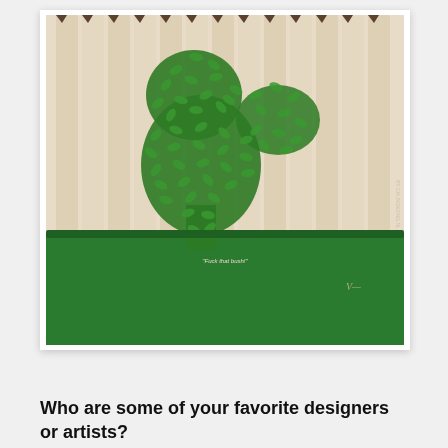[Figure (illustration): A minimalist movie poster illustration showing a topiary bush shaped like a person peering over a wooden fence. The bush/topiary is made of many green leaves arranged in the silhouette of a figure. Below the fence is a bright green lawn. White border around the artwork. Small text reads 'Fuck that bush!' and a signature is visible.]
Who are some of your favorite designers or artists?